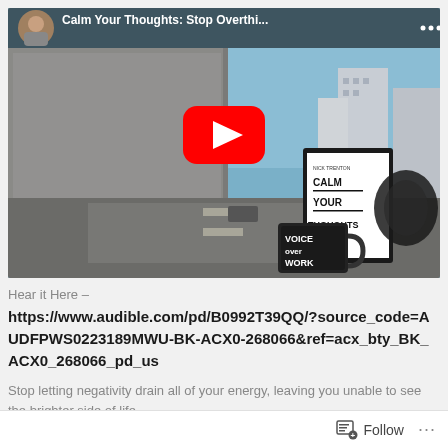[Figure (screenshot): YouTube video thumbnail titled 'Calm Your Thoughts: Stop Overthi...' with a three-dot menu icon. The thumbnail shows a highway underpass scene with a red YouTube play button in the center. On the right side of the thumbnail are product images: a book/tablet showing 'CALM YOUR THOUGHTS', a mug reading 'VOICE over WORK', and headphones. A small portrait thumbnail of the channel owner appears in the top-left corner.]
Hear it Here –
https://www.audible.com/pd/B0992T39QQ/?source_code=AUDFPWS0223189MWU-BK-ACX0-268066&ref=acx_bty_BK_ACX0_268066_pd_us
Stop letting negativity drain all of your energy, leaving you unable to see the brighter side of life.
Follow ...